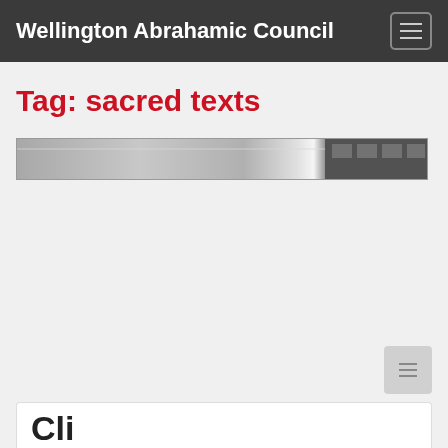Wellington Abrahamic Council
Tag: sacred texts
[Figure (photo): A narrow horizontal strip showing what appears to be a library or room interior with shelving and metallic surfaces]
Cli... (partially visible card title, truncated)